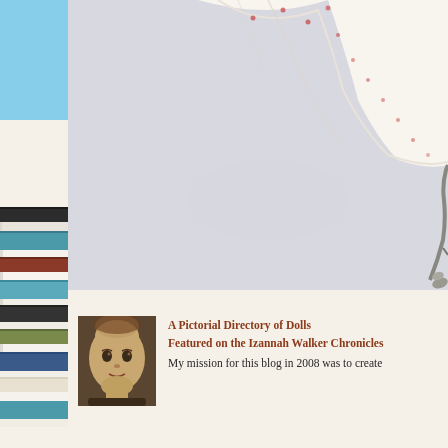[Figure (photo): Left sidebar showing a stack of books with blue, cream, red spines against a cream/ivory background]
[Figure (photo): Main large photo showing a white/cream fabric dress or garment with small red dot pattern, laid flat on a light grey/white surface, with decorative metallic scissors visible at right edge]
[Figure (photo): Small thumbnail portrait photo of an antique cloth doll face with painted features, brown/golden tones]
A Pictorial Directory of Dolls
Featured on the Izannah Walker Chronicles
My mission for this blog in 2008 was to create